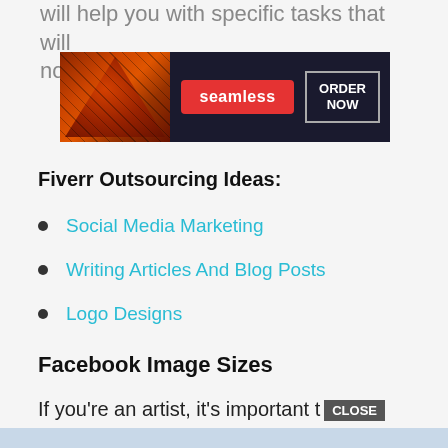will help you with specific tasks that will no...
[Figure (screenshot): Seamless food delivery banner ad with pizza image, seamless logo in red, and ORDER NOW button on dark background]
Fiverr Outsourcing Ideas:
Social Media Marketing
Writing Articles And Blog Posts
Logo Designs
Facebook Image Sizes
If you're an artist, it's important t CLOSE
[Figure (screenshot): MAC cosmetics advertisement showing lipsticks in purple, pink, coral and red colors with MAC logo and SHOP NOW button]